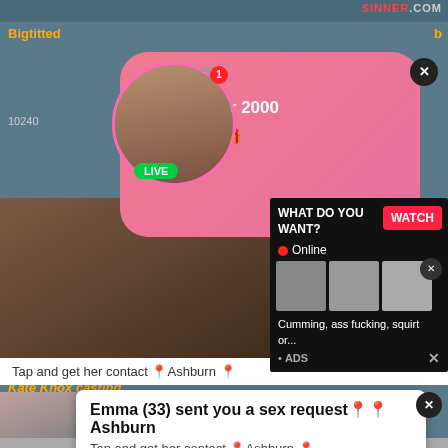[Figure (screenshot): Adult website screenshot with multiple popup advertisements overlaid on video content]
SINNER.COM
Bigtitted...b
10240
ADS Jeniffer 2000 (00:12)🎁
LIVE
WHAT DO YOU WANT? WATCH
● Online
Cumming, ass fucking, squirt or...
• ADS
Tap and get her contact 📍Ashburn 📍
Kate Knox casting
Emma (33) sent you a sex request📍📍Ashburn
Tap and get her contact 📍Ashburn 📍